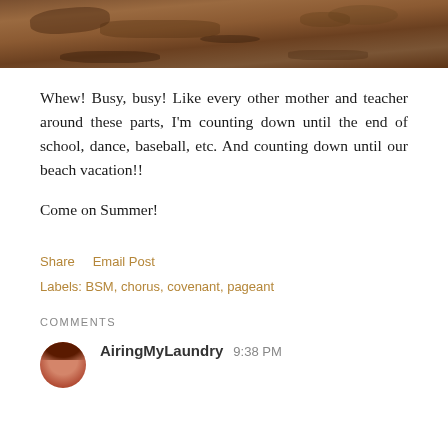[Figure (photo): Partial photo showing dirt/soil ground — bottom portion of an outdoor scene with reddish-brown earth]
Whew! Busy, busy! Like every other mother and teacher around these parts, I'm counting down until the end of school, dance, baseball, etc. And counting down until our beach vacation!!
Come on Summer!
Share    Email Post
Labels: BSM, chorus, covenant, pageant
COMMENTS
AiringMyLaundry  9:38 PM